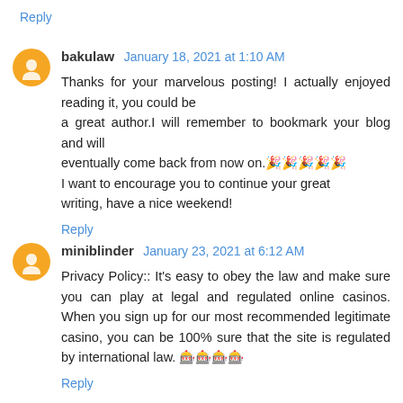Reply
bakulaw  January 18, 2021 at 1:10 AM
Thanks for your marvelous posting! I actually enjoyed reading it, you could be a great author.I will remember to bookmark your blog and will eventually come back from now on.🎉🎉🎉🎉🎉
I want to encourage you to continue your great writing, have a nice weekend!
Reply
miniblinder  January 23, 2021 at 6:12 AM
Privacy Policy:: It's easy to obey the law and make sure you can play at legal and regulated online casinos. When you sign up for our most recommended legitimate casino, you can be 100% sure that the site is regulated by international law. 🎰🎰🎰🎰
Reply